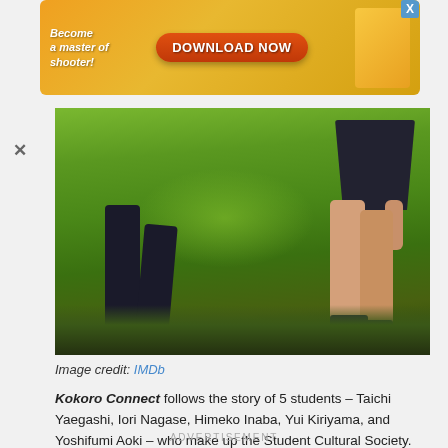[Figure (screenshot): Advertisement banner with orange/gold gradient background, text 'Become a master of shooter!' on left, orange 'DOWNLOAD NOW' button in center, game graphics on right, blue X close button top right]
[Figure (screenshot): Anime screenshot showing lower legs and feet of two characters walking on green grass field. Left character in dark pants and black shoes, right character in dark skirt with light-colored legs.]
Image credit: IMDb
Kokoro Connect follows the story of 5 students – Taichi Yaegashi, Iori Nagase, Himeko Inaba, Yui Kiriyama, and Yoshifumi Aoki – who make up the Student Cultural Society. The 5 starkly different individuals get dragged into a supernatural phenomenon by an entity called Heartseed, and they begin to randomly switch bodies with each other.
ADVERTISEMENT